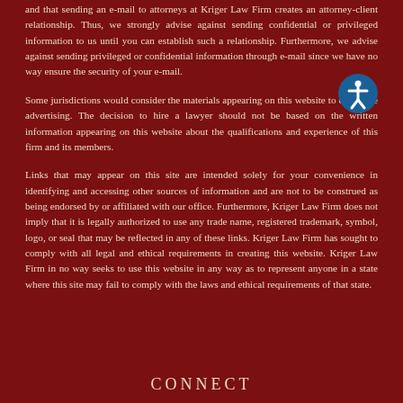and that sending an e-mail to attorneys at Kriger Law Firm creates an attorney-client relationship. Thus, we strongly advise against sending confidential or privileged information to us until you can establish such a relationship. Furthermore, we advise against sending privileged or confidential information through e-mail since we have no way ensure the security of your e-mail.
Some jurisdictions would consider the materials appearing on this website to constitute advertising. The decision to hire a lawyer should not be based on the written information appearing on this website about the qualifications and experience of this firm and its members.
Links that may appear on this site are intended solely for your convenience in identifying and accessing other sources of information and are not to be construed as being endorsed by or affiliated with our office. Furthermore, Kriger Law Firm does not imply that it is legally authorized to use any trade name, registered trademark, symbol, logo, or seal that may be reflected in any of these links. Kriger Law Firm has sought to comply with all legal and ethical requirements in creating this website. Kriger Law Firm in no way seeks to use this website in any way as to represent anyone in a state where this site may fail to comply with the laws and ethical requirements of that state.
CONNECT